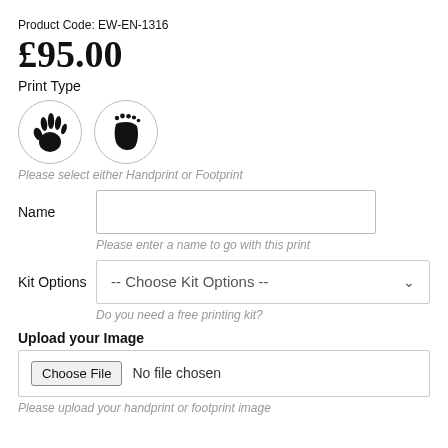Product Code: EW-EN-1316
£95.00
Print Type
[Figure (illustration): Two circular icons side by side: a handprint icon and a footprint icon, used as selectable options for Print Type.]
Please select either Handprint or Footprint
Name
Please enter a name to go with this print
Kit Options
-- Choose Kit Options --
Do you need a free printing kit?
Upload your Image
Choose File  No file chosen
Please upload your handprint or footprint image